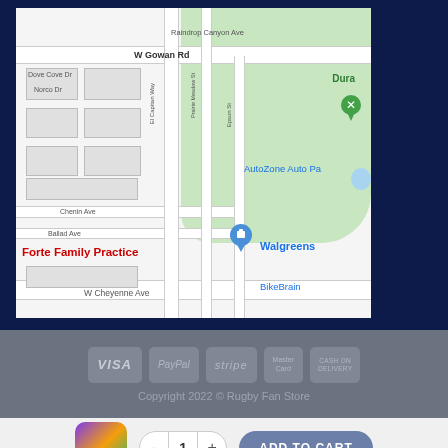[Figure (map): Street map showing neighborhood with streets including W Gowan Rd, W Cheyenne Ave, El Capitan Way, Prairie Meadow St, Epson St, Dove Cove Dr, Norco Dr, Chenin Ave, Ballad Ave. Businesses labeled include Forte Family Practice (red), AutoZone Auto Parts (blue), Walgreens (blue), BikeBrain (blue), Dura (green). Blue location pin marker visible near center. Green pin for Dura location.]
VISA  PayPal  stripe  MasterCard  CASH ON DELIVERY
Copyright 2022 © Rugby Fan Store
- 1 + ADD TO CART